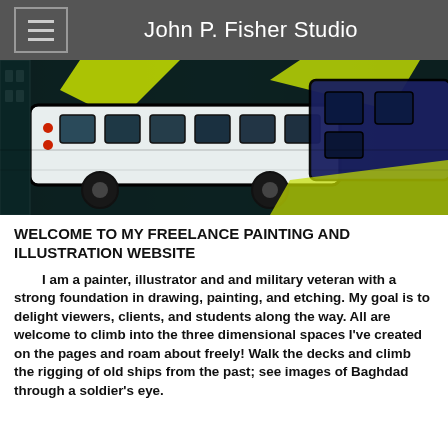John P. Fisher Studio
[Figure (illustration): A stylized digital illustration of buses or large vehicles on a city street, rendered with bold outlines and vivid teal, yellow, and dark blue tones giving a graphic novel or painted effect.]
WELCOME TO MY FREELANCE PAINTING AND ILLUSTRATION WEBSITE
I am a painter, illustrator and and military veteran with a strong foundation in drawing, painting, and etching. My goal is to delight viewers, clients, and students along the way. All are welcome to climb into the three dimensional spaces I've created on the pages and roam about freely! Walk the decks and climb the rigging of old ships from the past; see images of Baghdad through a soldier's eye.